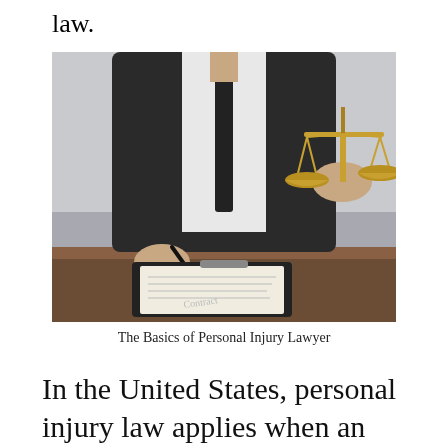law.
[Figure (photo): A lawyer in a dark suit sitting at a wooden desk, holding a golden balance of justice scales in one hand and writing with a pen on a contract document on a clipboard with the other hand. Professional legal setting.]
The Basics of Personal Injury Lawyer
In the United States, personal injury law applies when an individual is harmed by